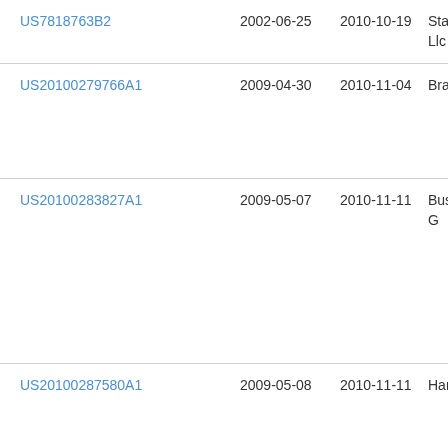| US7818763B2 | 2002-06-25 | 2010-10-19 | Sta
Llc |
| US20100279766A1 | 2009-04-30 | 2010-11-04 | Bra |
| US20100283827A1 | 2009-05-07 | 2010-11-11 | Bus
G |
| US20100287580A1 | 2009-05-08 | 2010-11-11 | Har |
| US7840415B2 | 2007-07-30 | 2010-11-23 | Eric |